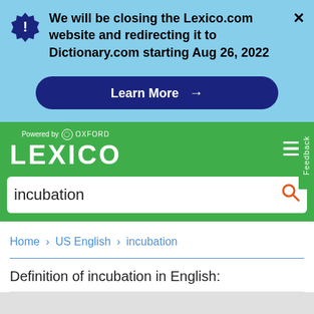We will be closing the Lexico.com website and redirecting it to Dictionary.com starting Aug 26, 2022
[Figure (screenshot): Learn More button with arrow on dark blue background]
[Figure (logo): Lexico logo powered by Oxford on green background]
incubation
Home > US English > incubation
Definition of incubation in English: